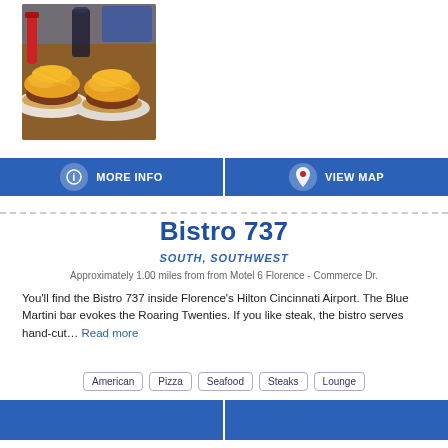[Figure (photo): Food photo showing Cincinnati-style chili cheese coneys on plates, with shredded orange cheese piled high on hot dogs/coneys, on a wooden table with a blue sign in background]
MORE INFO
VIEW MAP
Bistro 737
SOUTH, SOUTHWEST
Approximately 1.00 miles from from Motel 6 Florence - Commerce Dr.
You'll find the Bistro 737 inside Florence's Hilton Cincinnati Airport. The Blue Martini bar evokes the Roaring Twenties. If you like steak, the bistro serves hand-cut... Read more
American
Pizza
Seafood
Steaks
Lounge